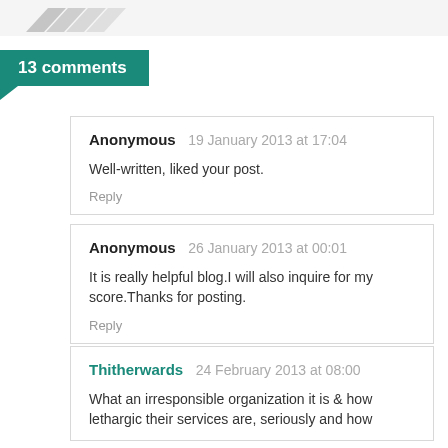[Figure (logo): Partial logo visible at top left, grey diagonal stripes forming stylized shape]
13 comments
Anonymous 19 January 2013 at 17:04
Well-written, liked your post.
Reply
Anonymous 26 January 2013 at 00:01
It is really helpful blog.I will also inquire for my score.Thanks for posting.
Reply
Thitherwards 24 February 2013 at 08:00
What an irresponsible organization it is & how lethargic their services are, seriously and how